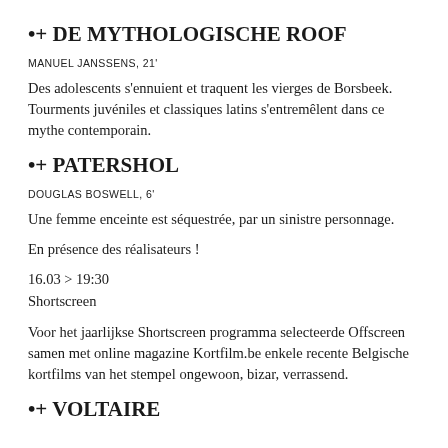•+ DE MYTHOLOGISCHE ROOF
MANUEL JANSSENS, 21'
Des adolescents s'ennuient et traquent les vierges de Borsbeek. Tourments juvéniles et classiques latins s'entremêlent dans ce mythe contemporain.
•+ PATERSHOL
DOUGLAS BOSWELL, 6'
Une femme enceinte est séquestrée, par un sinistre personnage.
En présence des réalisateurs !
16.03 > 19:30
Shortscreen
Voor het jaarlijkse Shortscreen programma selecteerde Offscreen samen met online magazine Kortfilm.be enkele recente Belgische kortfilms van het stempel ongewoon, bizar, verrassend.
•+ VOLTAIRE